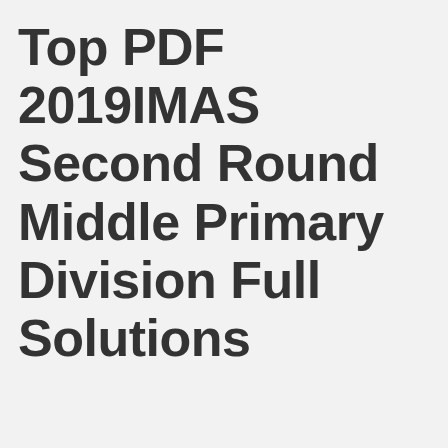Top PDF 2019IMAS Second Round Middle Primary Division Full Solutions